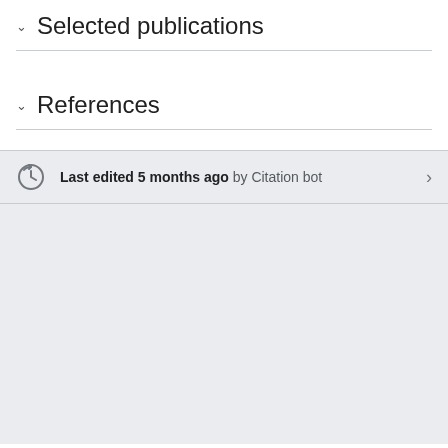Selected publications
References
Last edited 5 months ago by Citation bot